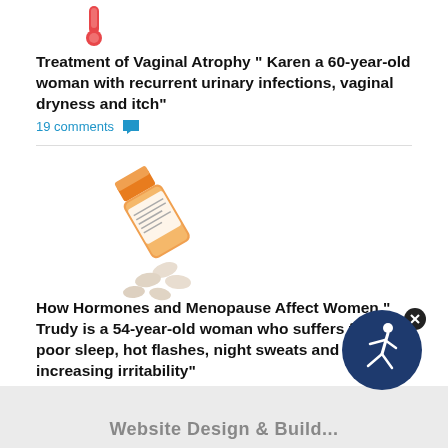[Figure (illustration): Thermometer icon at top of page]
Treatment of Vaginal Atrophy " Karen a 60-year-old woman with recurrent urinary infections, vaginal dryness and itch"
19 comments
[Figure (photo): Orange prescription pill bottle on its side with white tablets spilling out]
How Hormones and Menopause Affect Women " Trudy is a 54-year-old woman who suffers from poor sleep, hot flashes, night sweats and increasing irritability"
21 comments
[Figure (logo): Dark blue circular logo with white running figure]
Website Design & Build...